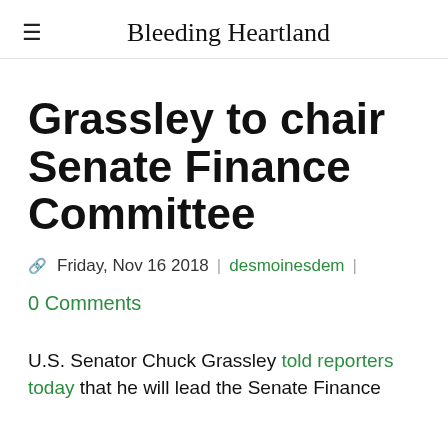Bleeding Heartland
Grassley to chair Senate Finance Committee
Friday, Nov 16 2018 | desmoinesdem |
0 Comments
U.S. Senator Chuck Grassley told reporters today that he will lead the Senate Finance